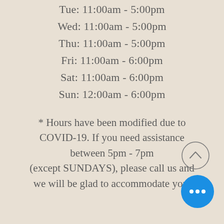Tue: 11:00am - 5:00pm
Wed: 11:00am - 5:00pm
Thu: 11:00am - 5:00pm
Fri: 11:00am - 6:00pm
Sat: 11:00am - 6:00pm
Sun: 12:00am - 6:00pm
* Hours have been modified due to COVID-19. If you need assistance between 5pm - 7pm (except SUNDAYS), please call us and we will be glad to accommodate you.
[Figure (other): Scroll-to-top button: circle with upward chevron arrow]
[Figure (other): Chat/menu button: blue circle with three dots]